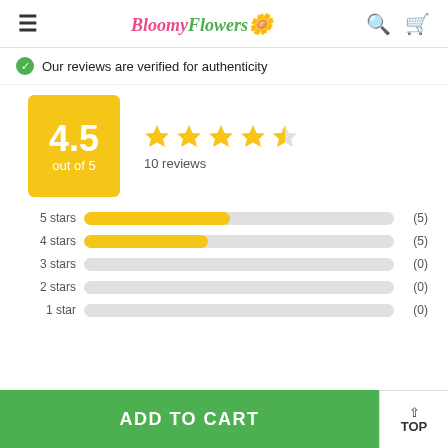Bloomy Flowers
Our reviews are verified for authenticity
[Figure (other): Rating summary showing 4.5 out of 5 with 4.5 stars and 10 reviews, plus bar chart breakdown: 5 stars (5), 4 stars (5), 3 stars (0), 2 stars (0), 1 star (0)]
ADD TO CART